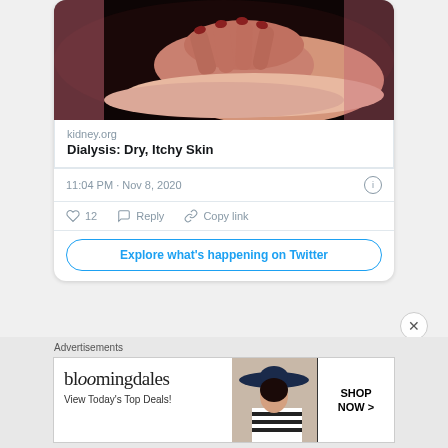[Figure (screenshot): Cropped photo of a hand scratching skin, dark background with pink clothing visible]
kidney.org
Dialysis: Dry, Itchy Skin
11:04 PM · Nov 8, 2020
12  Reply  Copy link
Explore what's happening on Twitter
Advertisements
[Figure (screenshot): Bloomingdales advertisement banner with logo, 'View Today's Top Deals!' text, woman in hat image, and 'SHOP NOW >' button]